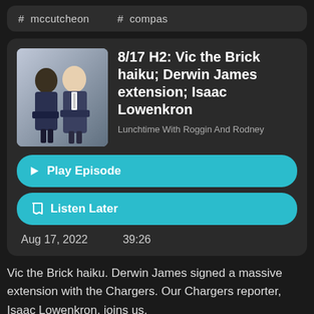# mccutcheon
# compas
8/17 H2: Vic the Brick haiku; Derwin James extension; Isaac Lowenkron
Lunchtime With Roggin And Rodney
[Figure (photo): Two men in suits standing against a grey background — podcast show artwork]
▶ Play Episode
🔖 Listen Later
Aug 17, 2022     39:26
Vic the Brick haiku. Derwin James signed a massive extension with the Chargers. Our Chargers reporter, Isaac Lowenkron, joins us.